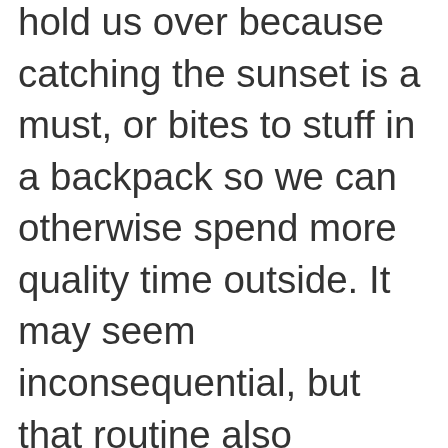hold us over because catching the sunset is a must, or bites to stuff in a backpack so we can otherwise spend more quality time outside. It may seem inconsequential, but that routine also includes a nicely printed menu hung on the refrigerator, so everyone in the family knows what's coming up.

When I got home from that girls' night, I decided to return to my old pattern to see if the additional structure was worth it. Indeed it was! We had homemade dinner as a family every single night that week, and I